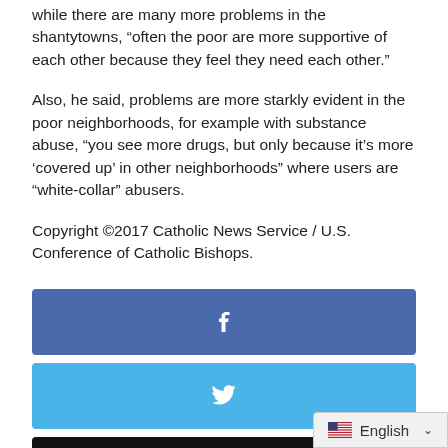while there are many more problems in the shantytowns, “often the poor are more supportive of each other because they feel they need each other.”
Also, he said, problems are more starkly evident in the poor neighborhoods, for example with substance abuse, “you see more drugs, but only because it’s more ‘covered up’ in other neighborhoods” where users are “white-collar” abusers.
Copyright ©2017 Catholic News Service / U.S. Conference of Catholic Bishops.
[Figure (infographic): Facebook share button (blue), Twitter share button (light blue), Email share button (black), each with respective icons centered.]
[Figure (infographic): Language selector bar showing English with US flag and dropdown chevron, positioned bottom right.]